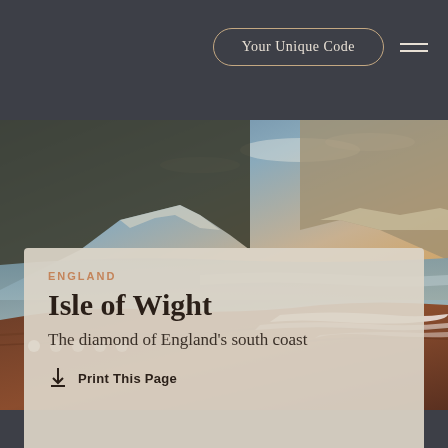Your Unique Code
[Figure (photo): Coastal landscape photograph showing red-pebble beach with white chalk cliffs in the background and calm sea water at sunset/golden hour, Isle of Wight, England]
ENGLAND
Isle of Wight
The diamond of England's south coast
Print This Page